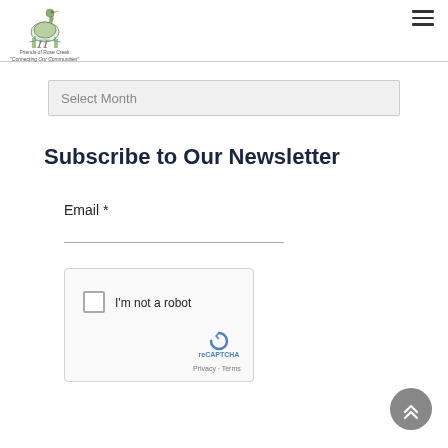[Figure (logo): Friends of Rose Creek heron logo with bird illustration and tagline 'Connecting Our Communities']
Select Month
Subscribe to Our Newsletter
Email *
[Figure (other): reCAPTCHA widget with checkbox 'I'm not a robot', reCAPTCHA logo, Privacy and Terms links]
[Figure (other): Scroll to top button (grey circle with double up arrows)]